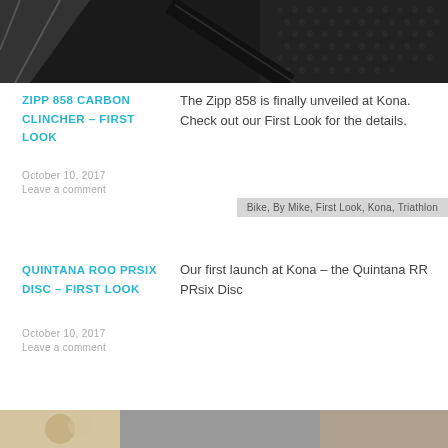[Figure (photo): Partial top image showing a dark carbon fiber bicycle component]
ZIPP 858 CARBON CLINCHER – FIRST LOOK
October 10, 2017
Leave a comment
The Zipp 858 is finally unveiled at Kona. Check out our First Look for the details.
Bike, By Mike, First Look, Kona, Triathlon
QUINTANA ROO PRSIX DISC – FIRST LOOK
October 10, 2017
Leave a comment
Our first launch at Kona – the Quintana RR PRsix Disc
[Figure (photo): Partial bottom image showing a triathlon scene]